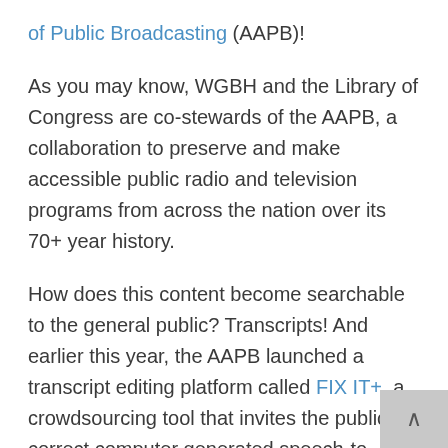of Public Broadcasting (AAPB)! As you may know, WGBH and the Library of Congress are co-stewards of the AAPB, a collaboration to preserve and make accessible public radio and television programs from across the nation over its 70+ year history. How does this content become searchable to the general public? Transcripts! And earlier this year, the AAPB launched a transcript editing platform called FIX IT+, a crowdsourcing tool that invites the public to correct computer generated speech-to-